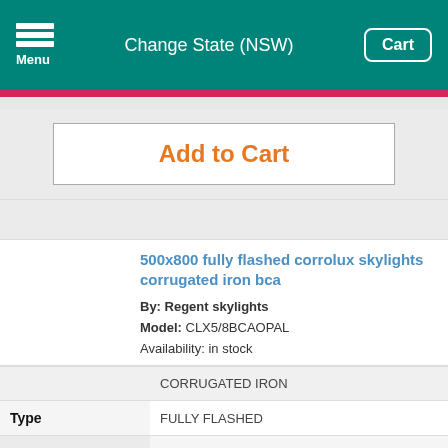Change State (NSW)
Add to Cart
500x800 fully flashed corrolux skylights corrugated iron bca
By: Regent skylights
Model: CLX5/8BCAOPAL
Availability: in stock
|  |  |
| --- | --- |
|  | CORRUGATED IRON |
| Type | FULLY FLASHED |
| Feature | BCA |
| Width | 500 |